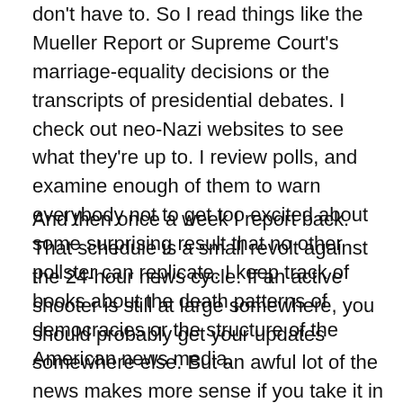don't have to. So I read things like the Mueller Report or Supreme Court's marriage-equality decisions or the transcripts of presidential debates. I check out neo-Nazi websites to see what they're up to. I review polls, and examine enough of them to warn everybody not to get too excited about some surprising result that no other pollster can replicate. I keep track of books about the death patterns of democracies or the structure of the American news media.
And then once a week I report back. That schedule is a small revolt against the 24-hour news cycle. If an active shooter is still at large somewhere, you should probably get your updates somewhere else. But an awful lot of the news makes more sense if you take it in week-long chunks rather than five-minute blips. And it often turns out that something seems terribly important for an hour or two,